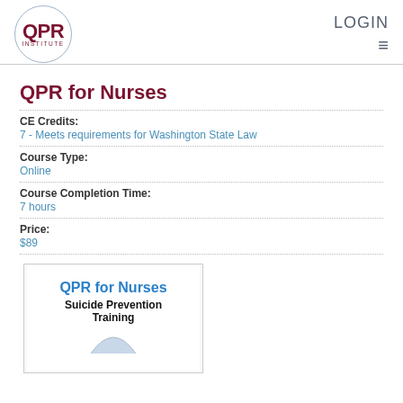QPR Institute | LOGIN
QPR for Nurses
CE Credits:
7 - Meets requirements for Washington State Law
Course Type:
Online
Course Completion Time:
7 hours
Price:
$89
[Figure (illustration): QPR for Nurses Suicide Prevention Training course cover image with text and a small graphic at the bottom]